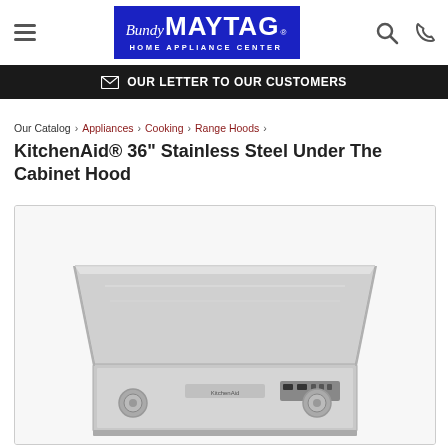[Figure (logo): Bundy MAYTAG Home Appliance Center logo — blue background with white text]
OUR LETTER TO OUR CUSTOMERS
Our Catalog › Appliances › Cooking › Range Hoods ›
KitchenAid® 36" Stainless Steel Under The Cabinet Hood
[Figure (photo): KitchenAid stainless steel 36-inch under the cabinet range hood, viewed from slightly below, showing the bottom and front face with KitchenAid branding and controls]